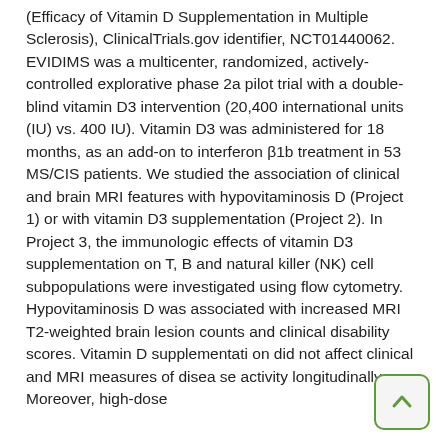(Efficacy of Vitamin D Supplementation in Multiple Sclerosis), ClinicalTrials.gov identifier, NCT01440062. EVIDIMS was a multicenter, randomized, actively-controlled explorative phase 2a pilot trial with a double-blind vitamin D3 intervention (20,400 international units (IU) vs. 400 IU). Vitamin D3 was administered for 18 months, as an add-on to interferon β1b treatment in 53 MS/CIS patients. We studied the association of clinical and brain MRI features with hypovitaminosis D (Project 1) or with vitamin D3 supplementation (Project 2). In Project 3, the immunologic effects of vitamin D3 supplementation on T, B and natural killer (NK) cell subpopulations were investigated using flow cytometry. Hypovitaminosis D was associated with increased MRI T2-weighted brain lesion counts and clinical disability scores. Vitamin D supplementation did not affect clinical and MRI measures of disease activity longitudinally. Moreover, high-dose